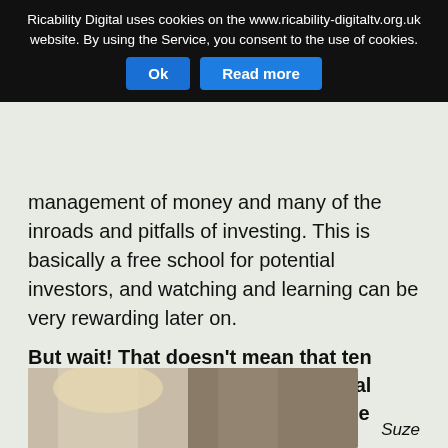Ricability Digital uses cookies on the www.ricability-digitaltv.org.uk website. By using the Service, you consent to the use of cookies.
management of money and many of the inroads and pitfalls of investing. This is basically a free school for potential investors, and watching and learning can be very rewarding later on.
But wait! That doesn't mean that ten minutes after tuning in to a financial show, the viewer should pick up the phone and call a broker.
There's a great deal to be learned about wise and prudent investing.
Suze Orman
[Figure (photo): Photo of Suze Orman, partially visible, showing blonde hair against a natural background]
Suze